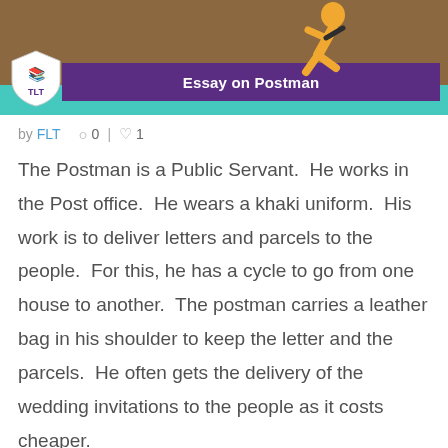[Figure (illustration): Banner image with brown background showing a postman figure in yellow, teal strip at bottom, purple banner reading 'Essay on Postman', and TLT shield logo on left.]
by FLT   ○ 0  |  ♡ 1
The Postman is a Public Servant.  He works in the Post office.  He wears a khaki uniform.  His work is to deliver letters and parcels to the people.  For this, he has a cycle to go from one house to another.  The postman carries a leather bag in his shoulder to keep the letter and the parcels.  He often gets the delivery of the wedding invitations to the people as it costs cheaper.